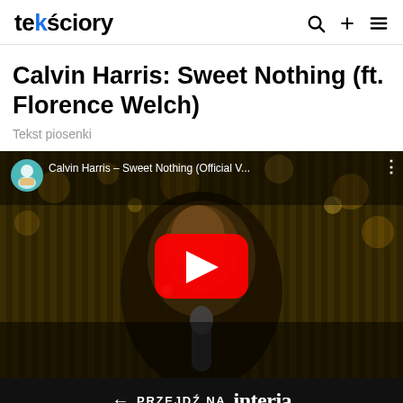tekściory
Calvin Harris: Sweet Nothing (ft. Florence Welch)
Tekst piosenki
[Figure (screenshot): YouTube video embed showing Calvin Harris – Sweet Nothing (Official V...) with a singer performing in front of golden bokeh background, with YouTube play button overlay and channel avatar in top left corner.]
← PRZEJDŹ NA interia